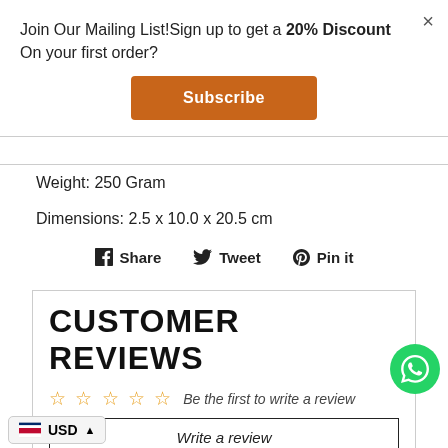Join Our Mailing List!Sign up to get a 20% Discount On your first order?
Subscribe
Weight: 250 Gram
Dimensions: 2.5 x 10.0 x 20.5 cm
f Share   ✦ Tweet   ⊕ Pin it
CUSTOMER REVIEWS
☆ ☆ ☆ ☆ ☆  Be the first to write a review
Write a review
USD ▲